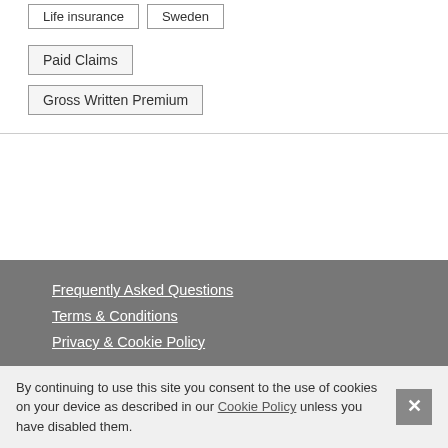Life Insurance | Sweden
Paid Claims
Gross Written Premium
Frequently Asked Questions
Terms & Conditions
Privacy & Cookie Policy
ReportBuyer Ltd,
Tenbury I – Brenchley Mews,
School Road,
Charing,
By continuing to use this site you consent to the use of cookies on your device as described in our Cookie Policy unless you have disabled them.